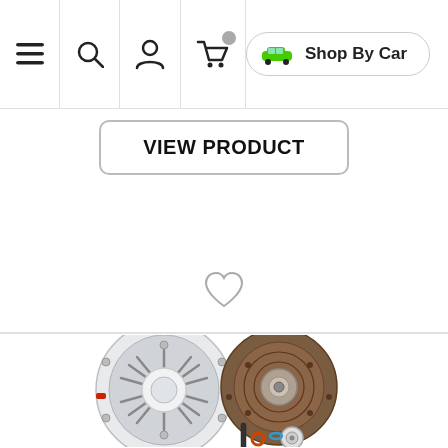[Figure (screenshot): Navigation bar with hamburger menu, search, user account, and shopping cart icons on left; 'Shop By Car' button with green car icon on right]
[Figure (screenshot): VIEW PRODUCT button with rounded rectangle border]
[Figure (illustration): Heart/wishlist icon (outline)]
[Figure (photo): Clutch kit product photo showing pressure plate, clutch disc, alignment tool, and throwout bearing components]